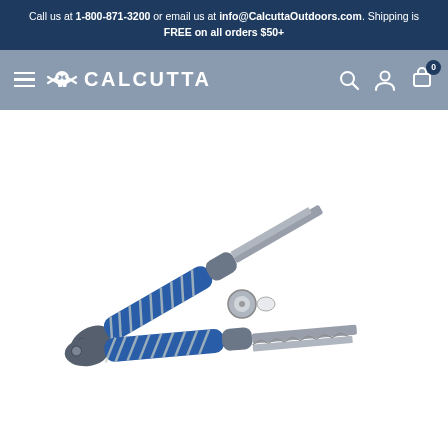Call us at 1-800-871-3200 or email us at info@CalcuttaOutdoors.com. Shipping is FREE on all orders $50+
[Figure (screenshot): Calcutta Outdoors navigation bar with hamburger menu, skull-and-crossbones logo with CALCUTTA text, and icons for search, user account, and shopping cart (badge showing 0)]
[Figure (photo): Calcutta branded fishing pliers with blue and white striped handles, gray grips, and stainless steel jaws/nose, shown open in an X configuration against a white background]